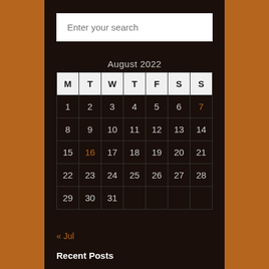[Figure (screenshot): Search input box with placeholder text 'Enter your search']
August 2022
| M | T | W | T | F | S | S |
| --- | --- | --- | --- | --- | --- | --- |
| 1 | 2 | 3 | 4 | 5 | 6 | 7 |
| 8 | 9 | 10 | 11 | 12 | 13 | 14 |
| 15 | 16 | 17 | 18 | 19 | 20 | 21 |
| 22 | 23 | 24 | 25 | 26 | 27 | 28 |
| 29 | 30 | 31 |  |  |  |  |
« Jul
Recent Posts